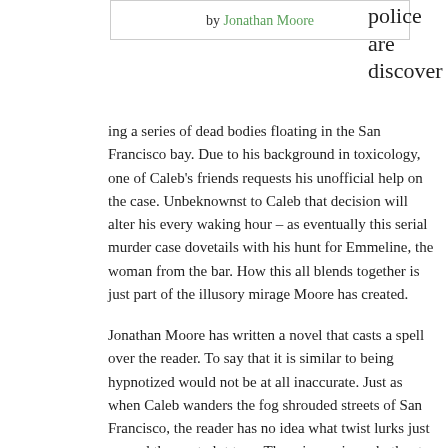by Jonathan Moore
police are discovering a series of dead bodies floating in the San Francisco bay. Due to his background in toxicology, one of Caleb’s friends requests his unofficial help on the case. Unbeknownst to Caleb that decision will alter his every waking hour – as eventually this serial murder case dovetails with his hunt for Emmeline, the woman from the bar. How this all blends together is just part of the illusory mirage Moore has created.
Jonathan Moore has written a novel that casts a spell over the reader. To say that it is similar to being hypnotized would not be at all inaccurate. Just as when Caleb wanders the fog shrouded streets of San Francisco, the reader has no idea what twist lurks just around the next plot turn. There is a unique rhythm to Moore’s writing – an undulation which